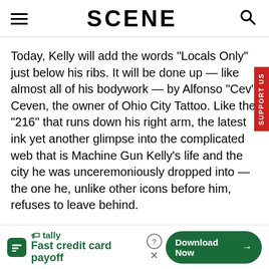SCENE
Today, Kelly will add the words "Locals Only" just below his ribs. It will be done up — like almost all of his bodywork — by Alfonso "Cev" Ceven, the owner of Ohio City Tattoo. Like the "216" that runs down his right arm, the latest ink yet another glimpse into the complicated web that is Machine Gun Kelly's life and the city he was unceremoniously dropped into — the one he, unlike other icons before him, refuses to leave behind.
But it took Kelly a while to morph into the honest, loyal, filthy-mouthed storyteller he is today. Onstage or off, in
[Figure (screenshot): Tally app advertisement banner: green Tally icon, 'tally' brand name, 'Fast credit card payoff' tagline, and 'Download Now' button on right side.]